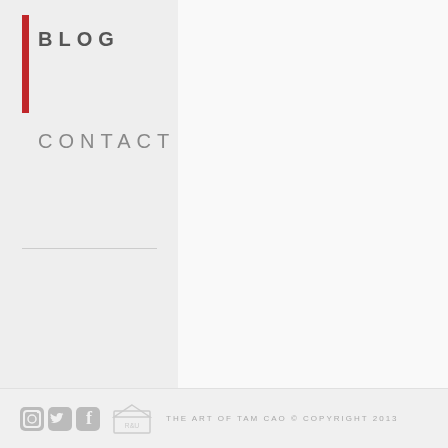BLOG
CONTACT
THE ART OF TAM CAO © COPYRIGHT 2013